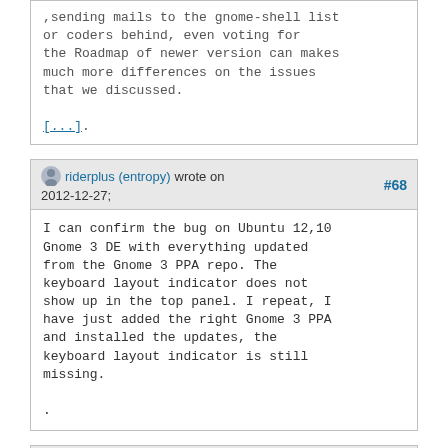,sending mails to the gnome-shell list
or coders behind, even voting for
the Roadmap of newer version can makes
much more differences on the issues
that we discussed.

[...].
riderplus (entropy) wrote on 2012-12-27: #68
I can confirm the bug on Ubuntu 12,10
Gnome 3 DE with everything updated
from the Gnome 3 PPA repo. The
keyboard layout indicator does not
show up in the top panel. I repeat, I
have just added the right Gnome 3 PPA
and installed the updates, the
keyboard layout indicator is still
missing.

.
riderplus (entropy) wrote on 2012-12-27: #69